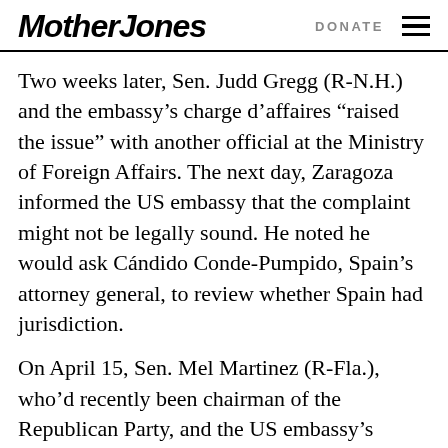Mother Jones | DONATE
Two weeks later, Sen. Judd Gregg (R-N.H.) and the embassy’s charge d’affaires “raised the issue” with another official at the Ministry of Foreign Affairs. The next day, Zaragoza informed the US embassy that the complaint might not be legally sound. He noted he would ask Cándido Conde-Pumpido, Spain’s attorney general, to review whether Spain had jurisdiction.
On April 15, Sen. Mel Martinez (R-Fla.), who’d recently been chairman of the Republican Party, and the US embassy’s charge d’affaires met with the acting Spanish foreign minister, Angel Lossada. The Americans, according to this cable, “underscored that the case was not legally sound…